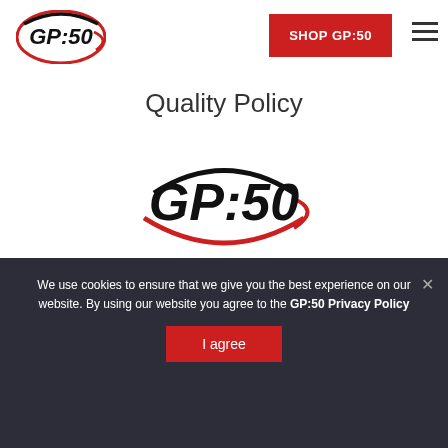GP:50  |  SHOP GP:50  |  [menu]
Quality Policy
[Figure (logo): GP:50 logo — bold italic text GP:50 inside a red oval arc]
Our Certifications
[Figure (infographic): Row of certification logos: AS9100D ISO 9001, CSA, HART, FM Approved, Ex (ATEX), CE, Annex 3, DNV GL, CRN, NIST 800-171 Compliant]
Our Affiliations
We use cookies to ensure that we give you the best experience on our website. By using our website you agree to the GP:50 Privacy Policy
I agree